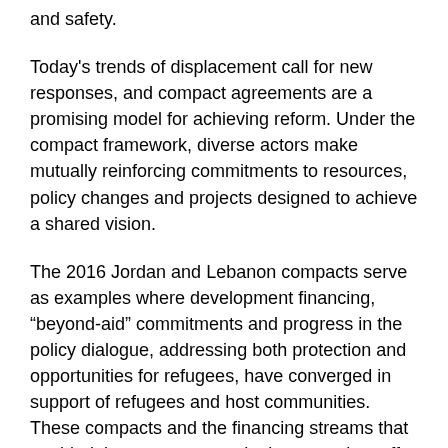and safety.
Today's trends of displacement call for new responses, and compact agreements are a promising model for achieving reform. Under the compact framework, diverse actors make mutually reinforcing commitments to resources, policy changes and projects designed to achieve a shared vision.
The 2016 Jordan and Lebanon compacts serve as examples where development financing, “beyond-aid” commitments and progress in the policy dialogue, addressing both protection and opportunities for refugees, have converged in support of refugees and host communities. These compacts and the financing streams that enabled them are noteworthy because they offer multi-year financing that can facilitate longer-term planning and programs, in a process led by the host governments. This creates an opportunity